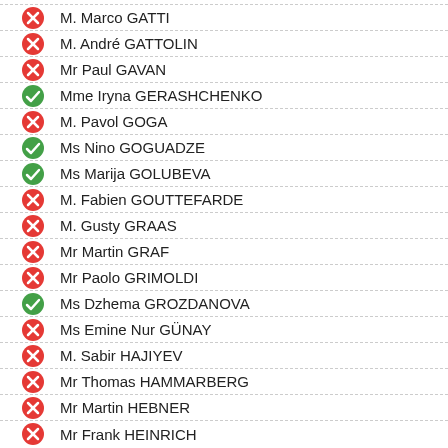M. Marco GATTI
M. André GATTOLIN
Mr Paul GAVAN
Mme Iryna GERASHCHENKO
M. Pavol GOGA
Ms Nino GOGUADZE
Ms Marija GOLUBEVA
M. Fabien GOUTTEFARDE
M. Gusty GRAAS
Mr Martin GRAF
Mr Paolo GRIMOLDI
Ms Dzhema GROZDANOVA
Ms Emine Nur GÜNAY
M. Sabir HAJIYEV
Mr Thomas HAMMARBERG
Mr Martin HEBNER
Mr Frank HEINRICH